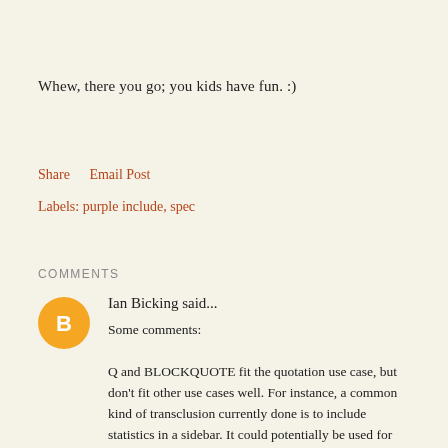Whew, there you go; you kids have fun. :)
Share    Email Post
Labels: purple include, spec
COMMENTS
Ian Bicking said...
Some comments:
Q and BLOCKQUOTE fit the quotation use case, but don't fit other use cases well. For instance, a common kind of transclusion currently done is to include statistics in a sidebar. It could potentially be used for server-side page composition. Using these semantically weighty